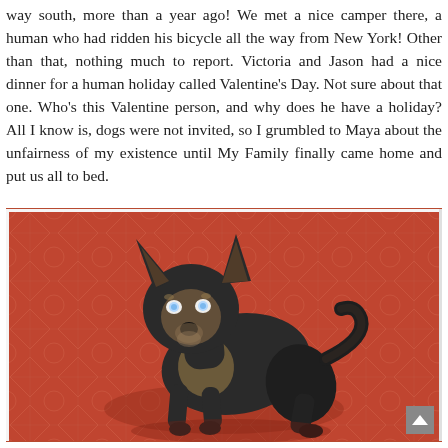way south, more than a year ago! We met a nice camper there, a human who had ridden his bicycle all the way from New York! Other than that, nothing much to report. Victoria and Jason had a nice dinner for a human holiday called Valentine's Day. Not sure about that one. Who's this Valentine person, and why does he have a holiday? All I know is, dogs were not invited, so I grumbled to Maya about the unfairness of my existence until My Family finally came home and put us all to bed.
[Figure (photo): A small dark dog (appears to be a Chihuahua mix) standing on a red decorative tiled floor, looking back at the camera with glowing eyes from the flash.]